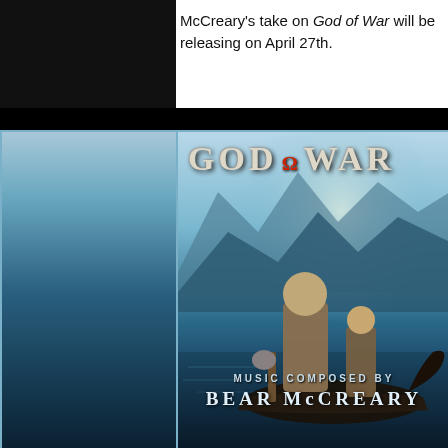McCreary's take on God of War will be releasing on April 27th.
[Figure (illustration): God of War album cover artwork showing Kratos and Atreus standing on a Viking boat on a lake, with Norse mountains in the background and the 'GOD OF WAR' title at the top. At the bottom: 'MUSIC COMPOSED BY BEAR McCREARY'.]